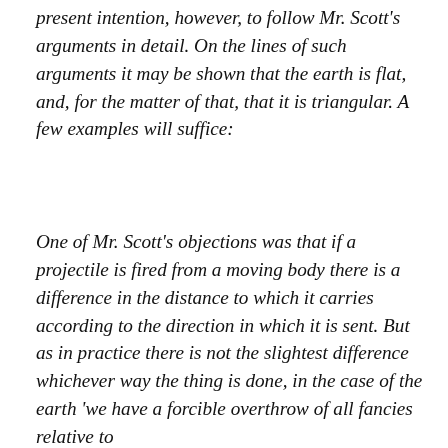present intention, however, to follow Mr. Scott's arguments in detail. On the lines of such arguments it may be shown that the earth is flat, and, for the matter of that, that it is triangular. A few examples will suffice:
One of Mr. Scott's objections was that if a projectile is fired from a moving body there is a difference in the distance to which it carries according to the direction in which it is sent. But as in practice there is not the slightest difference whichever way the thing is done, in the case of the earth 'we have a forcible overthrow of all fancies relative to